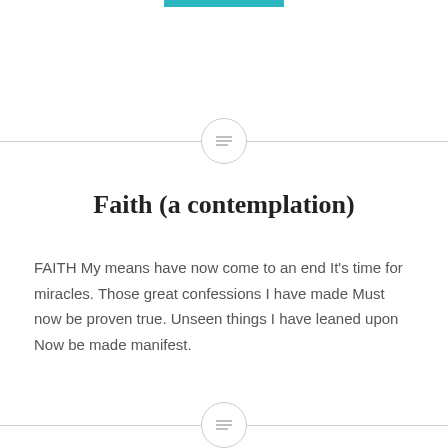Faith (a contemplation)
FAITH My means have now come to an end It’s time for miracles. Those great confessions I have made Must now be proven true. Unseen things I have leaned upon Now be made manifest.